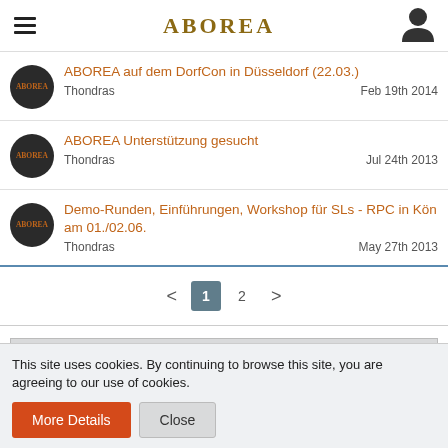ABOREA
ABOREA auf dem DorfCon in Düsseldorf (22.03.) — Thondras — Feb 19th 2014
ABOREA Unterstützung gesucht — Thondras — Jul 24th 2013
Demo-Runden, Einführungen, Workshop für SLs - RPC in Kön am 01./02.06. — Thondras — May 27th 2013
< 1 2 >
+ CREATE THREAD
This site uses cookies. By continuing to browse this site, you are agreeing to our use of cookies.
More Details  Close